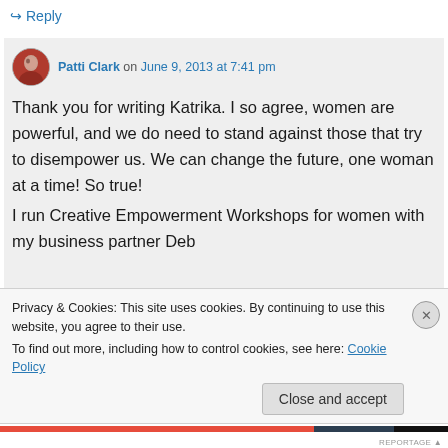↳ Reply
Patti Clark on June 9, 2013 at 7:41 pm
Thank you for writing Katrika. I so agree, women are powerful, and we do need to stand against those that try to disempower us. We can change the future, one woman at a time! So true!
I run Creative Empowerment Workshops for women with my business partner Deb
Privacy & Cookies: This site uses cookies. By continuing to use this website, you agree to their use.
To find out more, including how to control cookies, see here: Cookie Policy
Close and accept